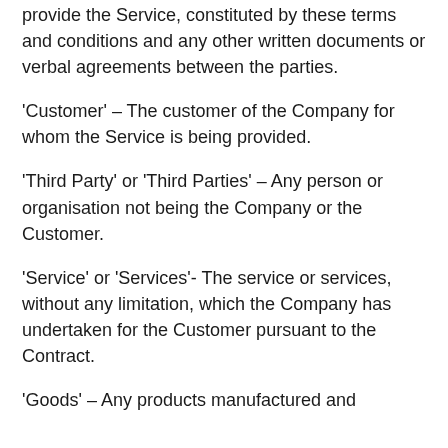provide the Service, constituted by these terms and conditions and any other written documents or verbal agreements between the parties.
'Customer' – The customer of the Company for whom the Service is being provided.
'Third Party' or 'Third Parties' – Any person or organisation not being the Company or the Customer.
'Service' or 'Services'- The service or services, without any limitation, which the Company has undertaken for the Customer pursuant to the Contract.
'Goods' – Any products manufactured and